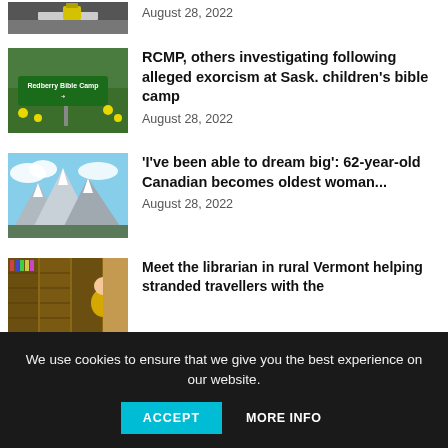[Figure (photo): Partial view of a road with a yellow object, cropped at top]
August 28, 2022
[Figure (photo): Green road sign reading 'Redberry Bible Camp' with yellow flowers in background]
RCMP, others investigating following alleged exorcism at Sask. children’s bible camp
August 28, 2022
[Figure (photo): Mountain landscape with snow-capped peaks and clouds]
‘I’ve been able to dream big’: 62-year-old Canadian becomes oldest woman...
August 28, 2022
[Figure (photo): Interior of a library with bookshelves and a person in a yellow shirt]
Meet the librarian in rural Vermont helping stranded travellers with the
We use cookies to ensure that we give you the best experience on our website.